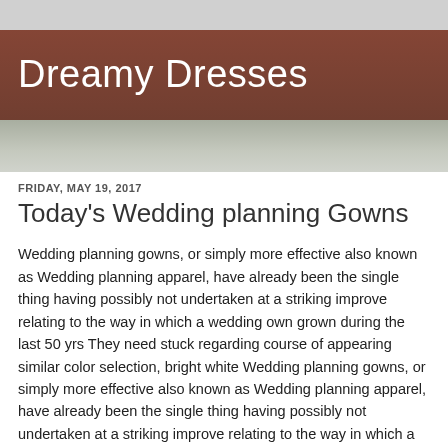Dreamy Dresses
FRIDAY, MAY 19, 2017
Today's Wedding planning Gowns
Wedding planning gowns, or simply more effective also known as Wedding planning apparel, have already been the single thing having possibly not undertaken at a striking improve relating to the way in which a wedding own grown during the last 50 yrs They need stuck regarding course of appearing similar color selection, bright white Wedding planning gowns, or simply more effective also known as Wedding planning apparel, have already been the single thing having possibly not undertaken at a striking improve relating to the way in which a wedding own grown during the last 50 yrs. They need stuck regarding course of appearing similar color selection, bright white. No company has long been bold a sufficient amount of that will choose to tamper